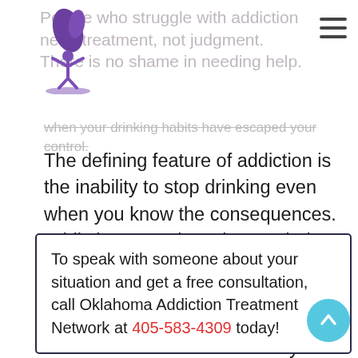People who struggle with addiction need treatment, not judgment. There is no shame in needing help.
when your drinking habits have escaped your control.
The defining feature of addiction is the inability to stop drinking even when you know the consequences. Addiction sometimes isn't a choice, but getting help is. When you call our number, we can help you understand your options for treatment. So contact us today at 405-583-4309 to take your first steps toward an addiction-free life.
To speak with someone about your situation and get a free consultation, call Oklahoma Addiction Treatment Network at 405-583-4309 today!